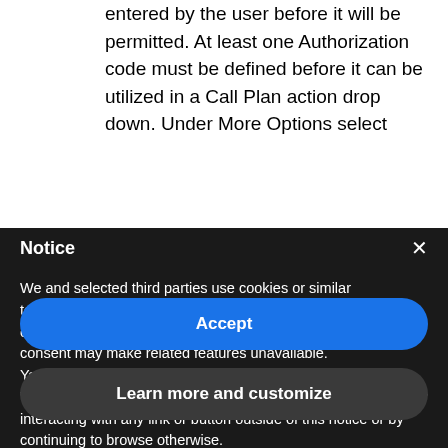entered by the user before it will be permitted. At least one Authorization code must be defined before it can be utilized in a Call Plan action drop down. Under More Options select
Notice
We and selected third parties use cookies or similar technologies for technical purposes and, with your consent, for other purposes as specified in the cookie policy. Denying consent may make related features unavailable.
You can consent to the use of such technologies by using the "Accept" button, by closing this notice, by scrolling this page, by interacting with any link or button outside of this notice or by continuing to browse otherwise.
Accept
Learn more and customize